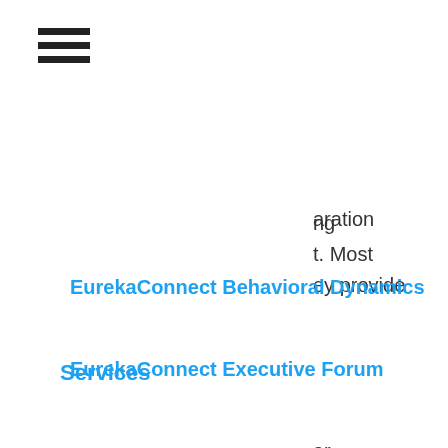[Figure (other): Hamburger menu icon (three horizontal bars)]
aration
Services
ng
t. Most
ey provide
EurekaConnect Behavioral Dynamics
EurekaConnect Executive Forum
ar
f people
1 to be
an
gency,
when
Resources
The EurekaMoment
The Blog
developing
itioning
: limiting
Customers
Upcoming Events